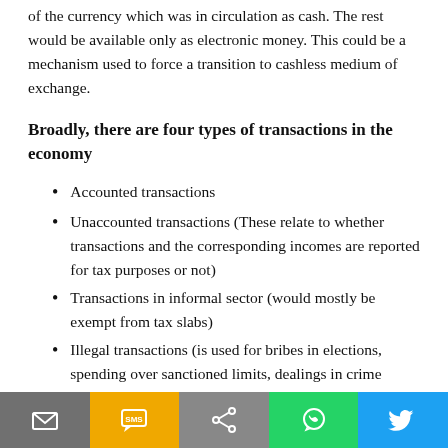of the currency which was in circulation as cash. The rest would be available only as electronic money. This could be a mechanism used to force a transition to cashless medium of exchange.
Broadly, there are four types of transactions in the economy
Accounted transactions
Unaccounted transactions (These relate to whether transactions and the corresponding incomes are reported for tax purposes or not)
Transactions in informal sector (would mostly be exempt from tax slabs)
Illegal transactions (is used for bribes in elections, spending over sanctioned limits, dealings in crime